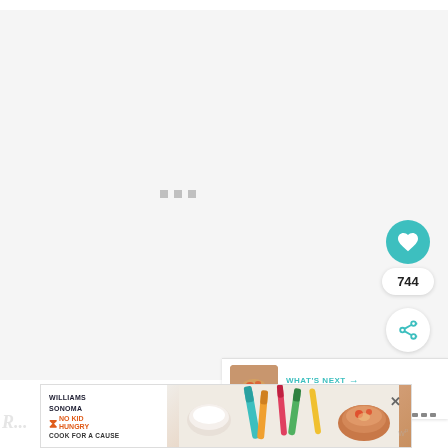[Figure (screenshot): Main content image area in light gray with loading dots, heart/like button (744 likes), share button, and 'What's Next: Creamy Vodka Sauce' panel on the right side]
[Figure (photo): Williams Sonoma / No Kid Hungry 'Cook for a Cause' advertisement banner at the bottom with baking-themed imagery]